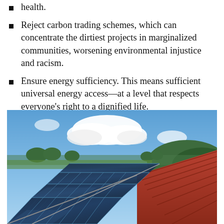health.
Reject carbon trading schemes, which can concentrate the dirtiest projects in marginalized communities, worsening environmental injustice and racism.
Ensure energy sufficiency. This means sufficient universal energy access—at a level that respects everyone's right to a dignified life.
[Figure (photo): Solar panels installed on a rooftop with a blue sky, white clouds, green hills and trees visible in the background.]